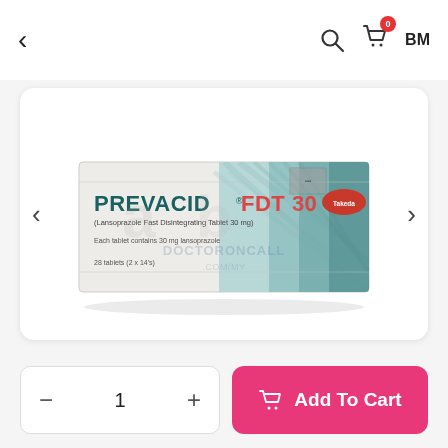< [back] [search] [cart 0] BM
[Figure (photo): Prevacid FDT 30 (Lansoprazole Fast Disintegrating Tablet 30 mg) medicine box by Takeda. White elongated box with teal/blue stripe pattern on right side. Text: PREVACID FDT 30, (Lansoprazole Fast Disintegrating Tablet 30 mg), Each tablet contains 30 mg lansoprazole, 28 tablets (2 x 14's). DOCTORONCALL.COM/MY watermark overlay.]
1
Add To Cart